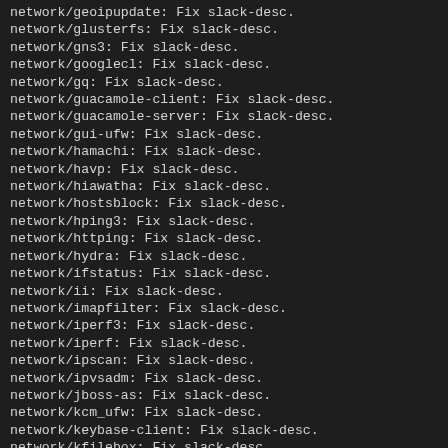network/geoipupdate: Fix slack-desc.
network/glusterfs: Fix slack-desc.
network/gns3: Fix slack-desc.
network/googlecl: Fix slack-desc.
network/gq: Fix slack-desc.
network/guacamole-client: Fix slack-desc.
network/guacamole-server: Fix slack-desc.
network/gui-ufw: Fix slack-desc.
network/hamachi: Fix slack-desc.
network/havp: Fix slack-desc.
network/hiawatha: Fix slack-desc.
network/hostsblock: Fix slack-desc.
network/hping3: Fix slack-desc.
network/httping: Fix slack-desc.
network/hydra: Fix slack-desc.
network/ifstatus: Fix slack-desc.
network/ii: Fix slack-desc.
network/imapfilter: Fix slack-desc.
network/iperf3: Fix slack-desc.
network/iperf: Fix slack-desc.
network/ipscan: Fix slack-desc.
network/ipvsadm: Fix slack-desc.
network/jboss-as: Fix slack-desc.
network/kcm_ufw: Fix slack-desc.
network/keybase-client: Fix slack-desc.
network/kfilebox: Fix slack-desc.
network/kismet: Fix slack-desc.
network/kmess: Fix slack-desc.
network/konversation: Fix slack-desc.
network/kvirc: Fix slack-desc.